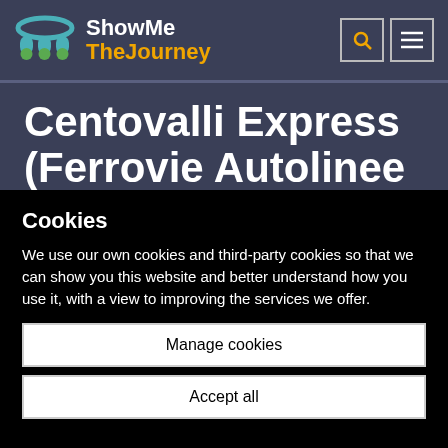[Figure (logo): ShowMe TheJourney logo with abstract tram/transport icon in teal and green, white text 'ShowMe' and orange text 'TheJourney']
Centovalli Express (Ferrovie Autolinee
Cookies
We use our own cookies and third-party cookies so that we can show you this website and better understand how you use it, with a view to improving the services we offer.
Manage cookies
Accept all